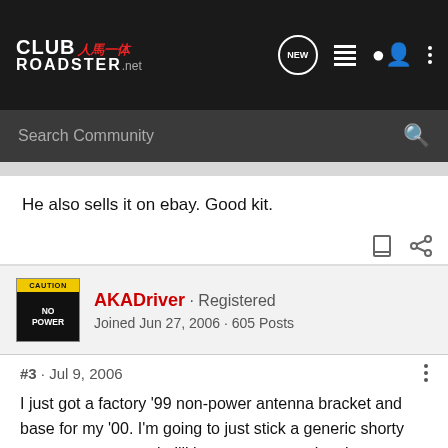CLUB ROADSTER.net
He also sells it on ebay. Good kit.
AKADriver · Registered
Joined Jun 27, 2006 · 605 Posts
#3 · Jul 9, 2006
I just got a factory '99 non-power antenna bracket and base for my '00. I'm going to just stick a generic shorty antenna mast onto it. I'll lose some reception, but my favorite radio station comes in just fine long before my power antenna is at full mast.